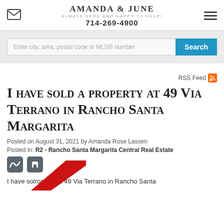AMANDA & JUNE
ALWAYS HERE AND HAPPY TO HELP!
714-269-4900
Enter city, area, postal code or MLS® number
RSS Feed
I have sold a property at 49 Via Terrano in Rancho Santa Margarita
Posted on August 31, 2021 by Amanda Rose Lassen
Posted in: R2 - Rancho Santa Margarita Central Real Estate
I have sold a property at 49 Via Terrano in Rancho Santa